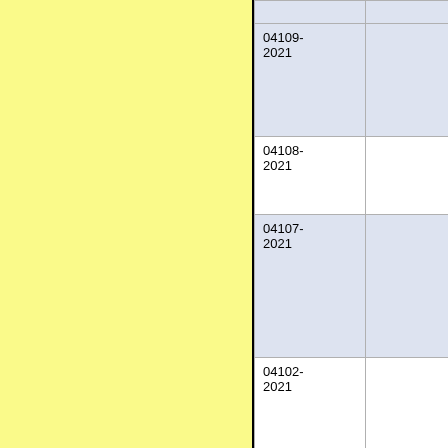|  |  |
| 04109-
2021 |  |
| 04108-
2021 |  |
| 04107-
2021 |  |
| 04102-
2021 |  |
| 04095-
2021 |  |